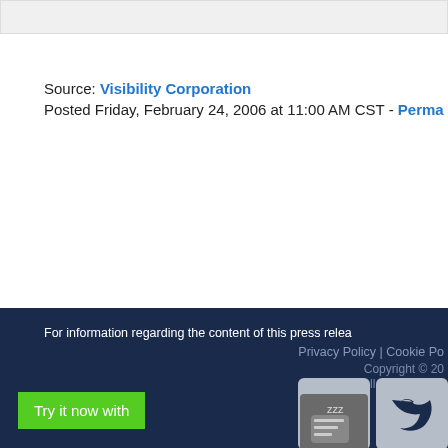Source: Visibility Corporation
Posted Friday, February 24, 2006 at 11:00 AM CST - Perma...
For information regarding the content of this press relea...
Privacy Policy | Cookie Po...
Copyright © 20...
All Rights Rese...
[Figure (other): Social media icons: Facebook and Twitter buttons on dark navy footer background]
[Figure (other): Green 'Try it now with' button and chat widget with Zzz icon on dark navy background]